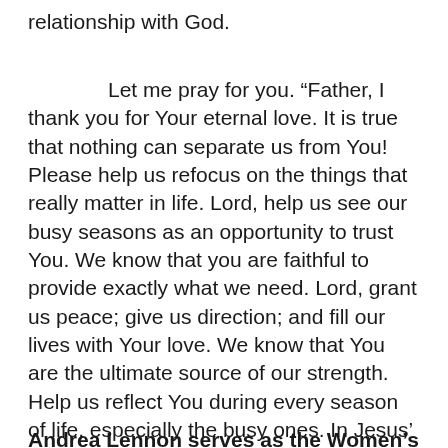relationship with God.
Let me pray for you. “Father, I thank you for Your eternal love. It is true that nothing can separate us from You! Please help us refocus on the things that really matter in life. Lord, help us see our busy seasons as an opportunity to trust You. We know that you are faithful to provide exactly what we need. Lord, grant us peace; give us direction; and fill our lives with Your love. We know that You are the ultimate source of our strength. Help us reflect You during every season of life, especially the busy ones. In Jesus’ Name, Amen.”
Andrea Lennon serves as the Women’s